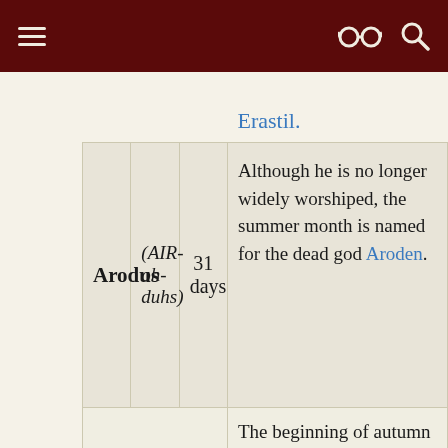Navigation bar with menu, glasses icon, and search icon
| Name | Pronunciation | Duration | Description |
| --- | --- | --- | --- |
|  |  |  | Erastil. |
| Arodus | (AIR-oh-duhs) | 31 days | Although he is no longer widely worshiped, the summer month is named for the dead god Aroden. |
|  |  |  | The beginning of autumn is named after the... |